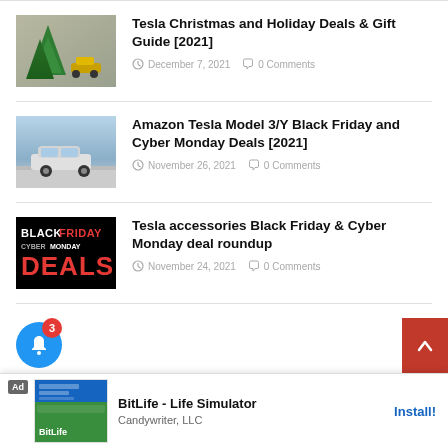[Figure (photo): Tesla Christmas tree and toy car thumbnail]
Tesla Christmas and Holiday Deals & Gift Guide [2021]
December 7, 2021   0 Comments
[Figure (photo): Tesla Model 3/Y on road thumbnail]
Amazon Tesla Model 3/Y Black Friday and Cyber Monday Deals [2021]
November 26, 2021   0 Comments
[Figure (photo): Black Friday Cyber Monday Deals banner thumbnail]
Tesla accessories Black Friday & Cyber Monday deal roundup
November 24, 2021   0 Comments
[Figure (screenshot): BitLife - Life Simulator ad banner by Candywriter, LLC with Install button]